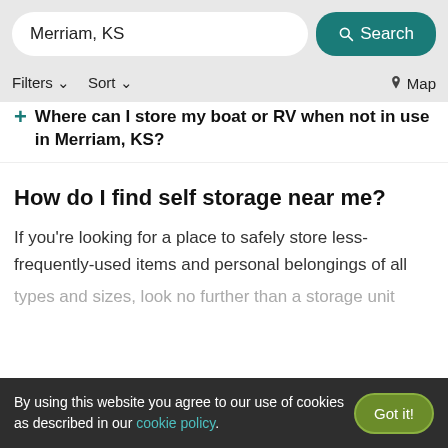Merriam, KS — Search | Filters | Sort | Map
Where can I store my boat or RV when not in use in Merriam, KS?
How do I find self storage near me?
If you're looking for a place to safely store less-frequently-used items and personal belongings of all types and sizes, look no further than a storage unit
By using this website you agree to our use of cookies as described in our cookie policy. Got it!